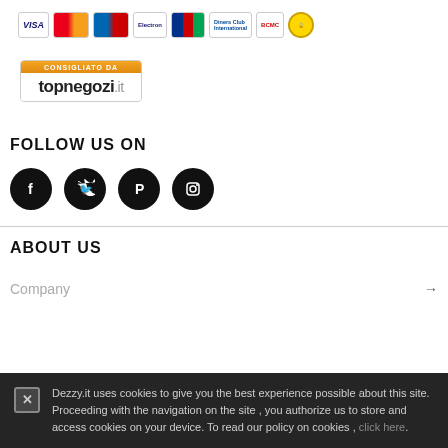[Figure (logo): Row of payment method logos: Visa, Mastercard, Maestro, Electron, JCB, Diners Club, BCMC, SSL security badge]
[Figure (logo): Topnegozi.it badge - CONSIGLIATO DA topnegozi.it]
FOLLOW US ON
[Figure (illustration): Four social media icons (Facebook, Twitter, Pinterest, Instagram) as white icons on black circles]
ABOUT US
Company →
Dezzy.it uses cookies to give you the best experience possible about this site.
Proceeding with the navigation on the site , you authorize us to store and access cookies on your device. To read our policy on cookies , click here.